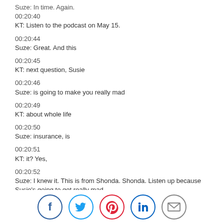Suze: In time. Again.
00:20:40
KT: Listen to the podcast on May 15.
00:20:44
Suze: Great. And this
00:20:45
KT: next question, Susie
00:20:46
Suze: is going to make you really mad
00:20:49
KT: about whole life
00:20:50
Suze: insurance, is
00:20:51
KT: it? Yes,
00:20:52
Suze: I knew it. This is from Shonda. Shonda. Listen up because Susie's going to get really mad.
00:20:58
Suze: My insurance agent keeps pushing me to switch from
[Figure (infographic): Social sharing icons row: Facebook (dark blue circle), Twitter (light blue circle), Pinterest (red circle), LinkedIn (dark blue circle), Email/envelope (gray circle)]